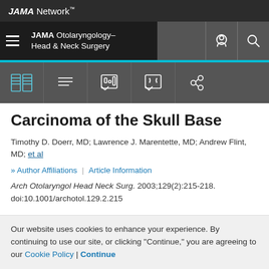JAMA Network
JAMA Otolaryngology–Head & Neck Surgery
Carcinoma of the Skull Base
Timothy D. Doerr, MD; Lawrence J. Marentette, MD; Andrew Flint, MD; et al
Author Affiliations | Article Information
Arch Otolaryngol Head Neck Surg. 2003;129(2):215-218. doi:10.1001/archotol.129.2.215
Abstract
Our website uses cookies to enhance your experience. By continuing to use our site, or clicking "Continue," you are agreeing to our Cookie Policy | Continue